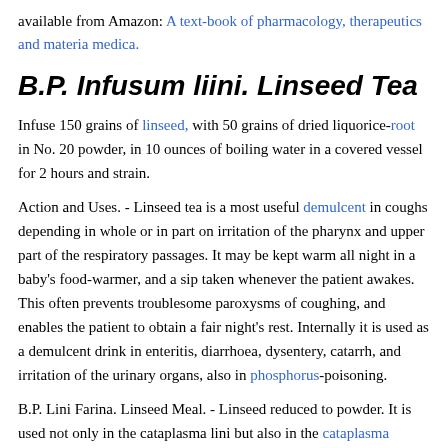available from Amazon: A text-book of pharmacology, therapeutics and materia medica.
B.P. Infusum liini. Linseed Tea
Infuse 150 grains of linseed, with 50 grains of dried liquorice-root in No. 20 powder, in 10 ounces of boiling water in a covered vessel for 2 hours and strain.
Action and Uses. - Linseed tea is a most useful demulcent in coughs depending in whole or in part on irritation of the pharynx and upper part of the respiratory passages. It may be kept warm all night in a baby's food-warmer, and a sip taken whenever the patient awakes. This often prevents troublesome paroxysms of coughing, and enables the patient to obtain a fair night's rest. Internally it is used as a demulcent drink in enteritis, diarrhoea, dysentery, catarrh, and irritation of the urinary organs, also in phosphorus-poisoning.
B.P. Lini Farina. Linseed Meal. - Linseed reduced to powder. It is used not only in the cataplasma lini but also in the cataplasma carbonis, conii, sinapis, and sodae chlorinatae.